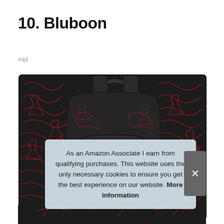10. Bluboon
#ad
[Figure (photo): Dark backpack with red graphic print pattern and glowing cyan/teal logo on the front compartment, shown from the back/front angle against a white bordered card.]
As an Amazon Associate I earn from qualifying purchases. This website uses the only necessary cookies to ensure you get the best experience on our website. More information